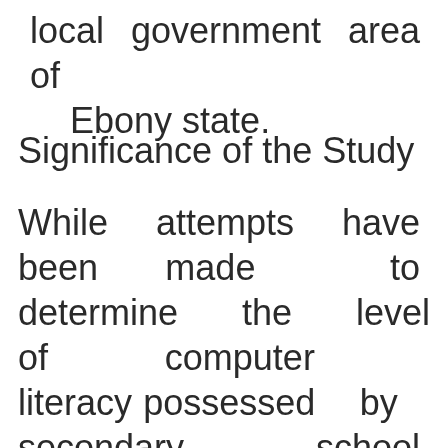local government area of Ebony state.
Significance of the Study
While attempts have been made to determine the level of computer literacy possessed by secondary school science teachers and the use of technology in the